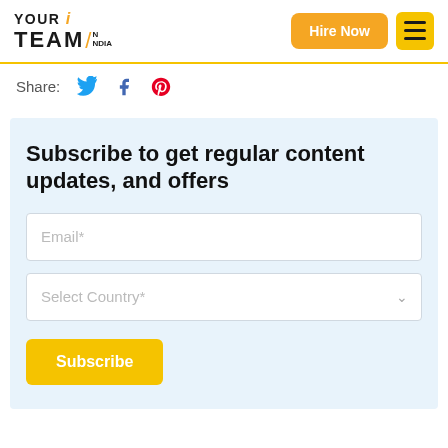[Figure (logo): Your Team in India logo with orange accent]
Hire Now
Share:
Subscribe to get regular content updates, and offers
Email*
Select Country*
Subscribe